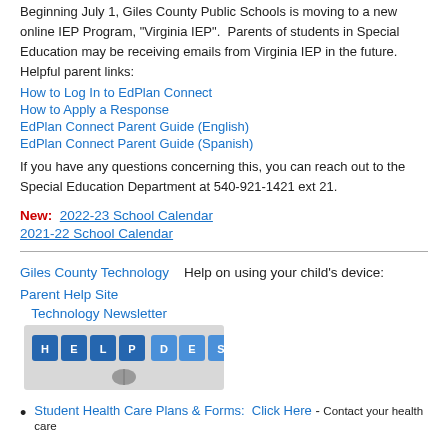Beginning July 1, Giles County Public Schools is moving to a new online IEP Program, "Virginia IEP".  Parents of students in Special Education may be receiving emails from Virginia IEP in the future. Helpful parent links:
How to Log In to EdPlan Connect
How to Apply a Response
EdPlan Connect Parent Guide (English)
EdPlan Connect Parent Guide (Spanish)
If you have any questions concerning this, you can reach out to the Special Education Department at 540-921-1421 ext 21.
New:  2022-23 School Calendar
2021-22 School Calendar
Giles County Technology   Help on using your child's device:  Parent Help Site
Technology Newsletter
[Figure (photo): Help Desk image showing HELP DESK letter tiles with a mouse]
Student Health Care Plans & Forms:  Click Here - Contact your health care